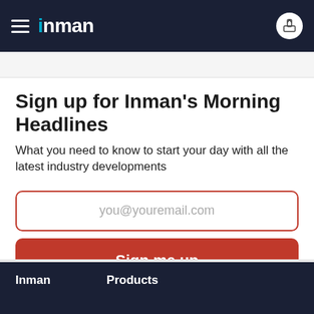inman
Sign up for Inman's Morning Headlines
What you need to know to start your day with all the latest industry developments
you@youremail.com
Sign me up
By submitting your email address, you agree to receive marketing emails from Inman.
Inman  Products